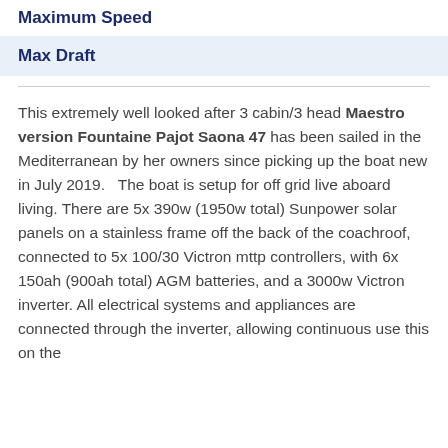Maximum Speed
Max Draft
This extremely well looked after 3 cabin/3 head Maestro version Fountaine Pajot Saona 47 has been sailed in the Mediterranean by her owners since picking up the boat new in July 2019.   The boat is setup for off grid live aboard living. There are 5x 390w (1950w total) Sunpower solar panels on a stainless frame off the back of the coachroof, connected to 5x 100/30 Victron mttp controllers, with 6x 150ah (900ah total) AGM batteries, and a 3000w Victron inverter. All electrical systems and appliances are connected through the inverter, allowing continuous use this on the